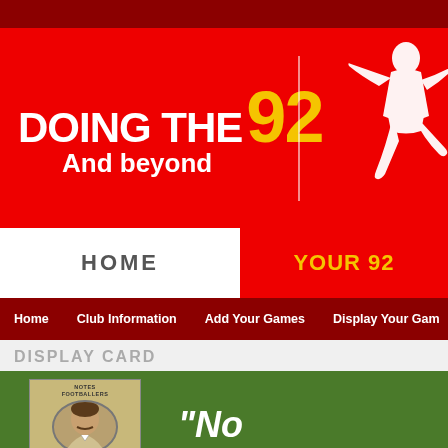[Figure (screenshot): Website header banner for 'Doing The 92 And beyond' football ground visiting website. Red background with white bold text 'DOING THE' and large yellow '92', white subtitle 'And beyond', vertical white divider line, and white footballer silhouette on right.]
DOING THE 92
And beyond
HOME
YOUR 92
Home   Club Information   Add Your Games   Display Your Gam
DISPLAY CARD
[Figure (photo): Cigarette card showing a Victorian-era footballer portrait in oval frame, with text 'NOTES ON FOOTBALLERS' at top and 'ISSUED BY LEEDS CITY' at bottom, on a green card background.]
"No
Fronts